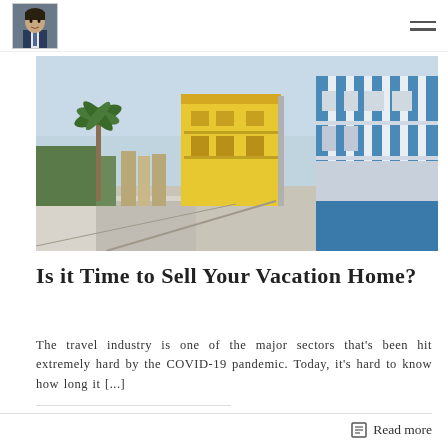[Figure (photo): Street scene with colorful striped vacation homes/buildings in yellow and blue, palm trees visible in the background, sunny day, coastal town atmosphere]
Is it Time to Sell Your Vacation Home?
The travel industry is one of the major sectors that's been hit extremely hard by the COVID-19 pandemic. Today, it's hard to know how long it [...]
Read more